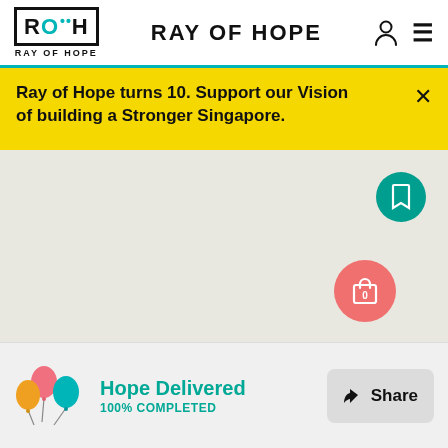RAY OF HOPE
Ray of Hope turns 10. Support our Vision of building a Stronger Singapore.
[Figure (screenshot): Grey map background area with a teal circular bookmark button in the top right and a coral/pink circular shopping cart button with '0' badge in the bottom right]
Hope Delivered
100% COMPLETED
Share